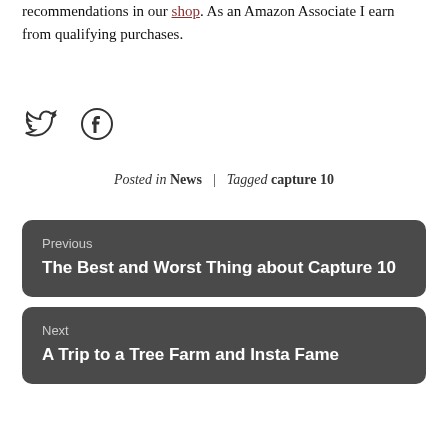recommendations in our shop. As an Amazon Associate I earn from qualifying purchases.
[Figure (illustration): Twitter and Facebook social media icons]
Posted in News | Tagged capture 10
Previous
The Best and Worst Thing about Capture 10
Next
A Trip to a Tree Farm and Insta Fame